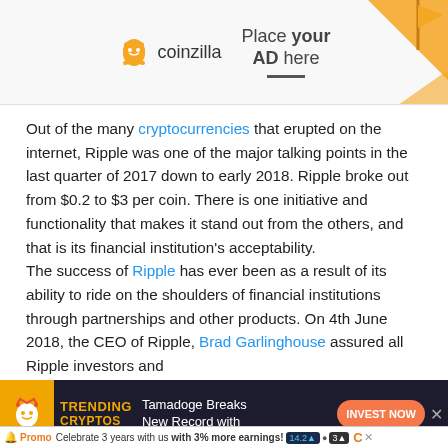[Figure (screenshot): Coinzilla advertisement banner — coinzilla logo on left, 'Place your AD here' text in center with underline, orange triangle decoration on right]
Out of the many cryptocurrencies that erupted on the internet, Ripple was one of the major talking points in the last quarter of 2017 down to early 2018. Ripple broke out from $0.2 to $3 per coin. There is one initiative and functionality that makes it stand out from the others, and that is its financial institution's acceptability.
The success of Ripple has ever been as a result of its ability to ride on the shoulders of financial institutions through partnerships and other products. On 4th June 2018, the CEO of Ripple, Brad Garlinghouse assured all Ripple investors and
[Figure (screenshot): Bottom advertisement bar — Trending Cryptos banner with Tamadoge Breaks New Record text and Invest Now button, plus promo bar at bottom]